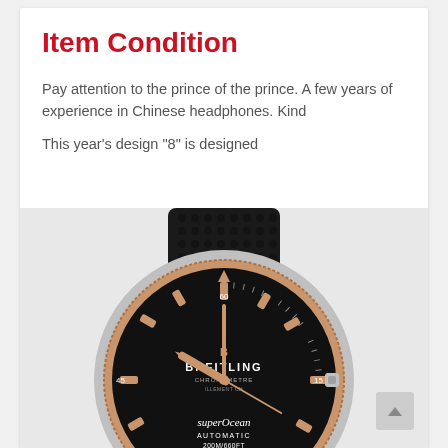Item Condition
Pay attention to the prince of the prince. A few years of experience in Chinese headphones. Kind
This year’s design “8” is designed
[Figure (photo): A Breitling SuperOcean Automatic 200M/660FT watch with black dial, rose gold and stainless steel case, black rubber strap with textured pattern. The watch face shows BREITLING CHRONOMETRE text, rose gold hour markers and hands, and 'superOcean AUTOMATIC 200M/660FT' text at the bottom.]